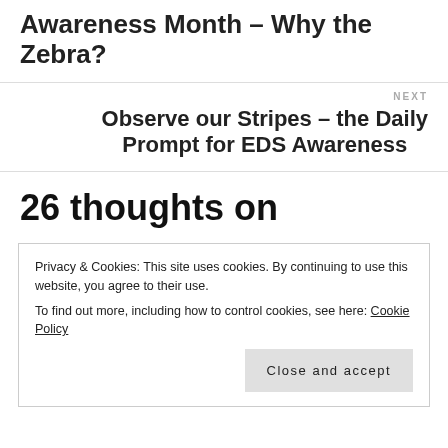Awareness Month – Why the Zebra?
NEXT
Observe our Stripes – the Daily Prompt for EDS Awareness
26 thoughts on
Privacy & Cookies: This site uses cookies. By continuing to use this website, you agree to their use.
To find out more, including how to control cookies, see here: Cookie Policy
Close and accept